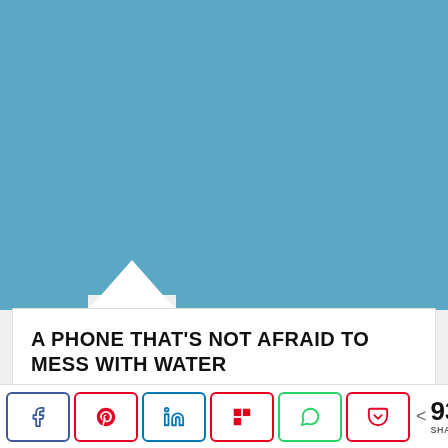[Figure (illustration): Blue hero image area with white triangular notch at bottom left-center]
A PHONE THAT'S NOT AFRAID TO MESS WITH WATER
Among the grievous wrongs done by touchscreen technology, the worst is its disregard for tactile feedback. Without the pleasant sensation of a button being pressed,...
[Figure (infographic): Social share buttons row: Facebook, Pinterest, LinkedIn, Flipboard, WhatsApp, Pocket, and share count of 931 SHARES]